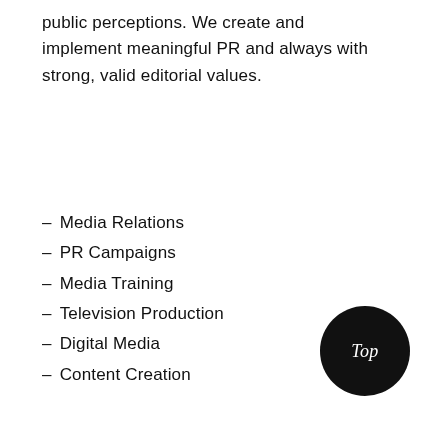public perceptions. We create and implement meaningful PR and always with strong, valid editorial values.
Media Relations
PR Campaigns
Media Training
Television Production
Digital Media
Content Creation
[Figure (other): Black circular button with white italic text reading 'Top']